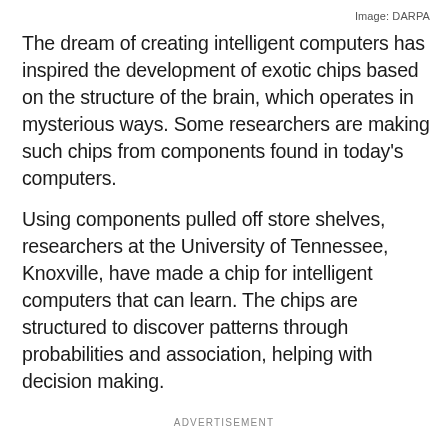Image: DARPA
The dream of creating intelligent computers has inspired the development of exotic chips based on the structure of the brain, which operates in mysterious ways. Some researchers are making such chips from components found in today’s computers.
Using components pulled off store shelves, researchers at the University of Tennessee, Knoxville, have made a chip for intelligent computers that can learn. The chips are structured to discover patterns through probabilities and association, helping with decision making.
ADVERTISEMENT